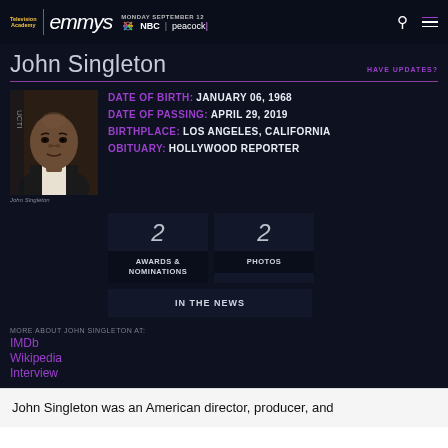Television Academy | emmys | MONDAY SEPTEMBER 12 | NBC | peacock
John Singleton
HAVE UPDATES?
[Figure (photo): Headshot photo of John Singleton]
John Singleton
DATE OF BIRTH: JANUARY 06, 1968
DATE OF PASSING: APRIL 29, 2019
BIRTHPLACE: LOS ANGELES, CALIFORNIA
OBITUARY: HOLLYWOOD REPORTER
2 AWARDS & NOMINATIONS
2 PHOTOS
IN THE NEWS
MORE ABOUT JOHN SINGLETON AT:
IMDb
Wikipedia
Interview
John Singleton was an American director, producer, and